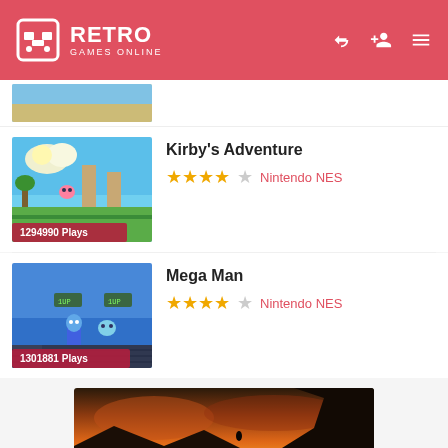RETRO GAMES ONLINE
[Figure (screenshot): Kirby's Adventure NES game thumbnail showing a colorful platformer scene with 1294990 Plays badge]
Kirby's Adventure
★★★★☆ Nintendo NES
[Figure (screenshot): Mega Man NES game thumbnail showing a side-scrolling action scene with 1301881 Plays badge]
Mega Man
★★★★☆ Nintendo NES
[Figure (photo): Sunset landscape banner image showing orange sky with silhouetted mountains and cliffs]